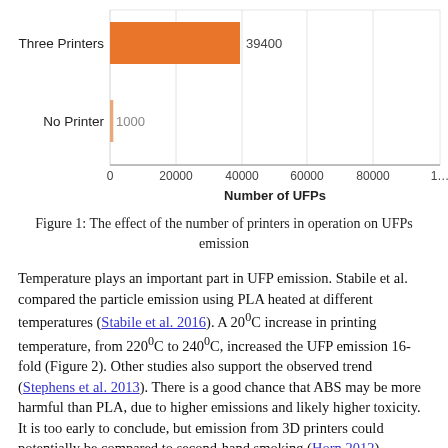[Figure (bar-chart): Number of UFPs vs Printer Count]
Figure 1: The effect of the number of printers in operation on UFPs emission
Temperature plays an important part in UFP emission. Stabile et al. compared the particle emission using PLA heated at different temperatures (Stabile et al. 2016). A 20°C increase in printing temperature, from 220°C to 240°C, increased the UFP emission 16-fold (Figure 2). Other studies also support the observed trend (Stephens et al. 2013). There is a good chance that ABS may be more harmful than PLA, due to higher emissions and likely higher toxicity. It is too early to conclude, but emission from 3D printers could potentially be compared to second-hand smoking (Horn 2012).